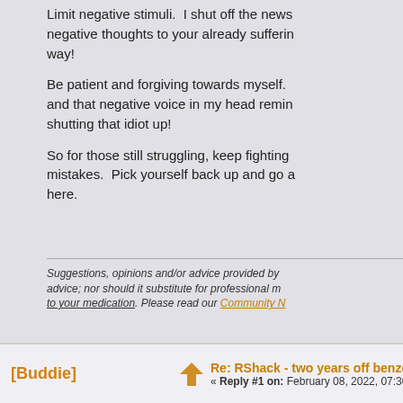Limit negative stimuli.  I shut off the news negative thoughts to your already suffering way!
Be patient and forgiving towards myself. and that negative voice in my head remin shutting that idiot up!
So for those still struggling, keep fighting mistakes.  Pick yourself back up and go a here.
Suggestions, opinions and/or advice provided by advice; nor should it substitute for professional m to your medication. Please read our Community
[Buddie]
Re: RShack - two years off benzo
« Reply #1 on: February 08, 2022, 07:30